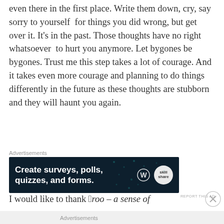even there in the first place. Write them down, cry, say sorry to yourself for things you did wrong, but get over it. It's in the past. Those thoughts have no right whatsoever to hurt you anymore. Let bygones be bygones. Trust me this step takes a lot of courage. And it takes even more courage and planning to do things differently in the future as these thoughts are stubborn and they will haunt you again.
[Figure (other): Advertisement banner: dark navy background with text 'Create surveys, polls, quizzes, and forms.' with WordPress and Skill logos on the right, with scattered dot decorations.]
I would like to thank “Aroo – a sense of